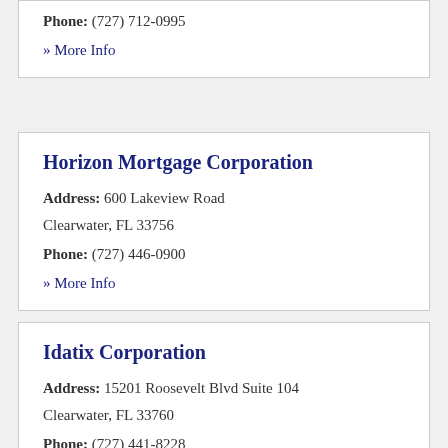Phone: (727) 712-0995
» More Info
Horizon Mortgage Corporation
Address: 600 Lakeview Road Clearwater, FL 33756
Phone: (727) 446-0900
» More Info
Idatix Corporation
Address: 15201 Roosevelt Blvd Suite 104 Clearwater, FL 33760
Phone: (727) 441-8228